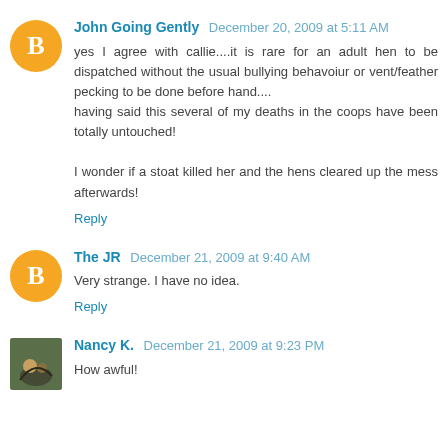John Going Gently December 20, 2009 at 5:11 AM
yes I agree with callie....it is rare for an adult hen to be dispatched without the usual bullying behavoiur or vent/feather pecking to be done before hand....
having said this several of my deaths in the coops have been totally untouched!

I wonder if a stoat killed her and the hens cleared up the mess afterwards!
Reply
The JR December 21, 2009 at 9:40 AM
Very strange. I have no idea.
Reply
Nancy K. December 21, 2009 at 9:23 PM
How awful!